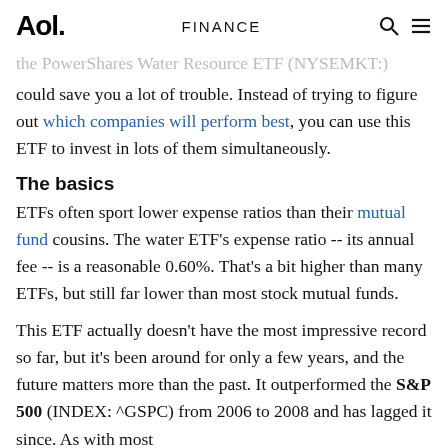Aol. | FINANCE
the PowerShares Water Resource ETF (NYSEMKT:) could save you a lot of trouble. Instead of trying to figure out which companies will perform best, you can use this ETF to invest in lots of them simultaneously.
The basics
ETFs often sport lower expense ratios than their mutual fund cousins. The water ETF's expense ratio -- its annual fee -- is a reasonable 0.60%. That's a bit higher than many ETFs, but still far lower than most stock mutual funds.
This ETF actually doesn't have the most impressive record so far, but it's been around for only a few years, and the future matters more than the past. It outperformed the S&P 500 (INDEX: ^GSPC) from 2006 to 2008 and has lagged it since. As with most